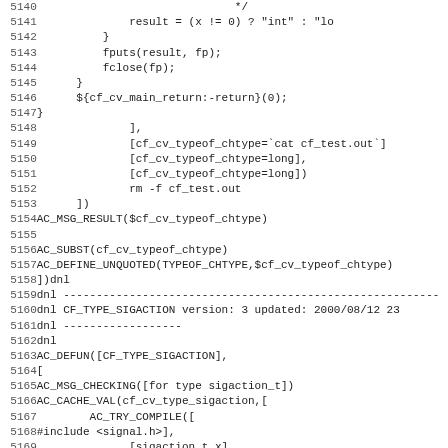[Figure (screenshot): Source code listing showing lines 5140-5171 of a shell/autoconf script. Lines include C code fragments and autoconf macros for type detection (chtype, sigaction_t). Line numbers appear in the left margin, code content on the right.]